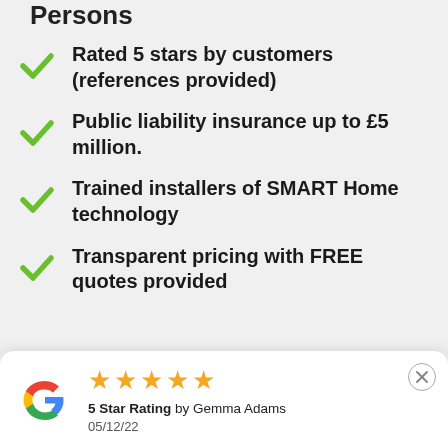Persons
Rated 5 stars by customers (references provided)
Public liability insurance up to £5 million.
Trained installers of SMART Home technology
Transparent pricing with FREE quotes provided
[Figure (other): Google review widget showing 5 star rating by Gemma Adams on 05/12/22, with Google G logo, five gold stars, and a close button.]